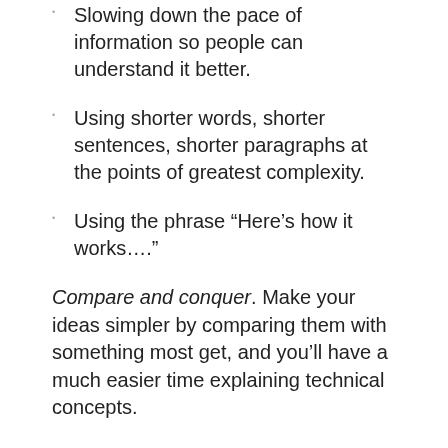Slowing down the pace of information so people can understand it better.
Using shorter words, shorter sentences, shorter paragraphs at the points of greatest complexity.
Using the phrase “Here’s how it works….”
Compare and conquer. Make your ideas simpler by comparing them with something most get, and you’ll have a much easier time explaining technical concepts.
Technique #6: Use a Three-Step